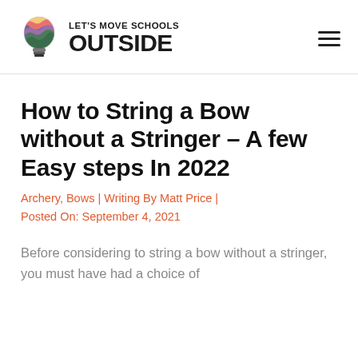LET'S MOVE SCHOOLS OUTSIDE
How to String a Bow without a Stringer – A few Easy steps In 2022
Archery, Bows | Writing By Matt Price | Posted On: September 4, 2021
Before considering to string a bow without a stringer, you must have had a choice of